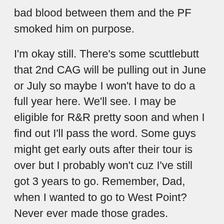bad blood between them and the PF smoked him on purpose.

I'm okay still. There's some scuttlebutt that 2nd CAG will be pulling out in June or July so maybe I won't have to do a full year here. We'll see. I may be eligible for R&R pretty soon and when I find out I'll pass the word. Some guys might get early outs after their tour is over but I probably won't cuz I've still got 3 years to go. Remember, Dad, when I wanted to go to West Point? Never ever made those grades. Remember when I said I was going to make the Marine Corps a career? I don't think so now. Things